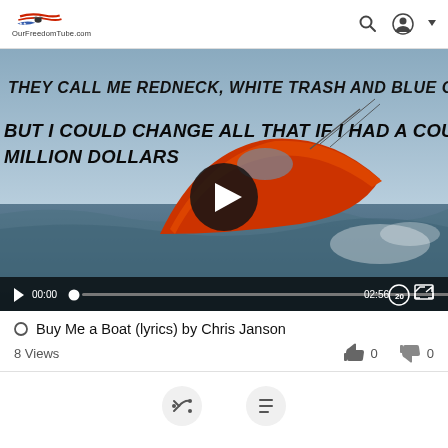OurFreedomTube.com
[Figure (screenshot): Video player showing a boat jumping over a wave with lyrics overlay: 'THEY CALL ME REDNECK, WHITE TRASH AND BLUE COLLAR' and 'BUT I COULD CHANGE ALL THAT IF I HAD A COUPLE MILLION DOLLARS'. A large play button is centered. Controls show 00:00 / 02:56 with a speed indicator and fullscreen button.]
Buy Me a Boat (lyrics) by Chris Janson
8 Views
0
0